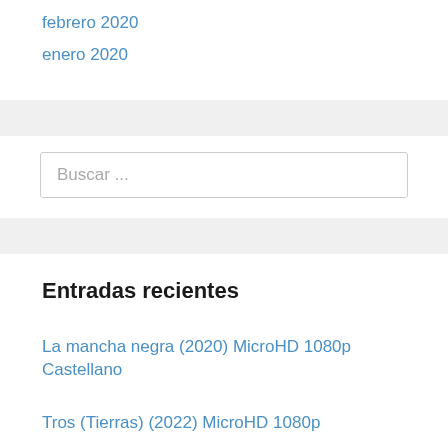febrero 2020
enero 2020
Buscar ...
Entradas recientes
La mancha negra (2020) MicroHD 1080p Castellano
Tros (Tierras) (2022) MicroHD 1080p